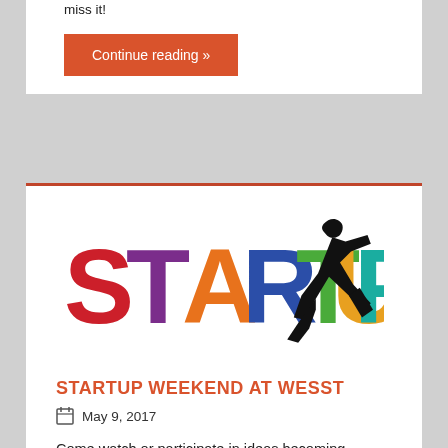miss it!
Continue reading »
[Figure (logo): Colorful STARTUP logo with a running person silhouette overlaid on large multicolored letters spelling STARTUP]
STARTUP WEEKEND AT WESST
May 9, 2017
Come watch or participate in ideas becoming